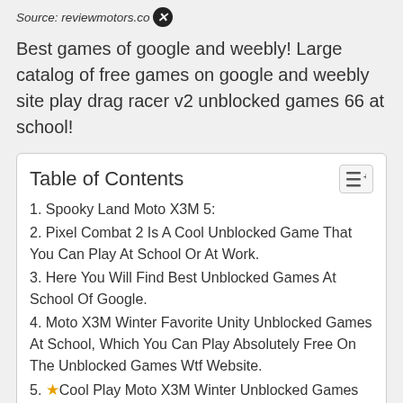Source: reviewmotors.co
Best games of google and weebly! Large catalog of free games on google and weebly site play drag racer v2 unblocked games 66 at school!
| Table of Contents |
| --- |
| 1. Spooky Land Moto X3M 5: |
| 2. Pixel Combat 2 Is A Cool Unblocked Game That You Can Play At School Or At Work. |
| 3. Here You Will Find Best Unblocked Games At School Of Google. |
| 4. Moto X3M Winter Favorite Unity Unblocked Games At School, Which You Can Play Absolutely Free On The Unblocked Games Wtf Website. |
| 5. ★Cool Play Moto X3M Winter Unblocked Games 66 At School★ We Have Added Only The Best Unblocked |